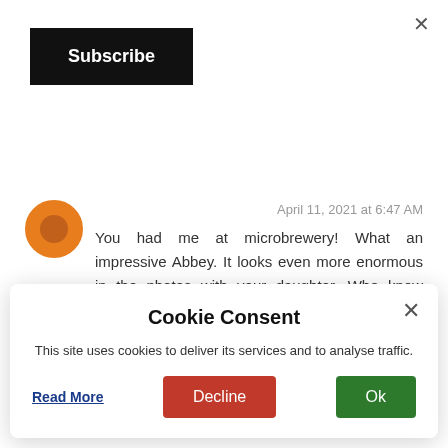×
Subscribe
April 11, 2021 at 6:47 AM
You had me at microbrewery! What an impressive Abbey. It looks even more enormous in the photos with your daughter. Who knew there are prisons in an abbey.
REPLY
Cookie Consent
This site uses cookies to deliver its services and to analyse traffic.
Read More
Decline
Ok